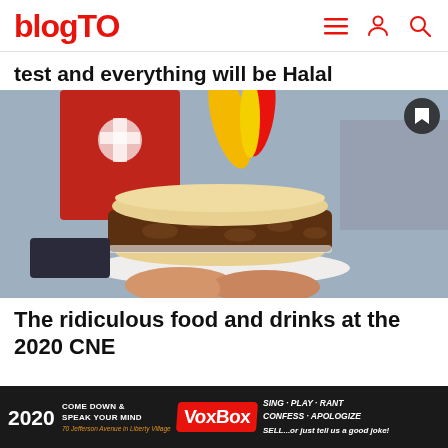blogTO
test and everything will be Halal
[Figure (photo): A hand holding a white plate with a large breaded burger sandwich on it, with colorful flags and urban background behind it. A bookmark icon is in the top right corner.]
The ridiculous food and drinks at the 2020 CNE
[Figure (infographic): Advertisement bar: 2020 CNE. Come down & speak your mind. 70 Jefferson Avenue in Liberty Village. VoxBox logo. SING · PLAY · RANT CONFESS · APOLOGIZE SELL...or just tell us a good joke!]